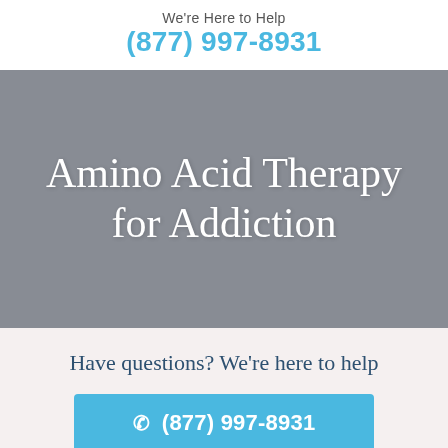We're Here to Help
(877) 997-8931
Amino Acid Therapy for Addiction
Have questions? We're here to help
(877) 997-8931